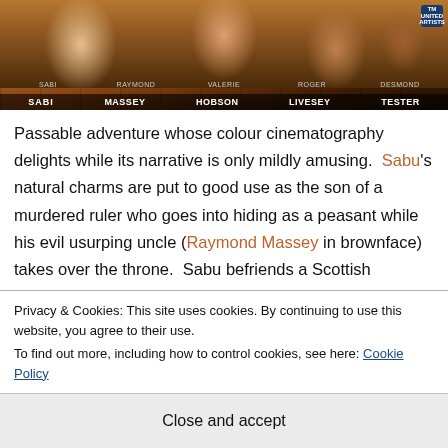[Figure (photo): Movie poster image showing actors' faces with names: Sabi, Raymond Massey, Valerie Hobson, Roger Livesey, Desmond Tester]
Passable adventure whose colour cinematography delights while its narrative is only mildly amusing. Sabu's natural charms are put to good use as the son of a murdered ruler who goes into hiding as a peasant while his evil usurping uncle (Raymond Massey in brownface) takes over the throne. Sabu befriends a Scottish drummer boy in the British regiment, wins the favour of an amiable officer (Roger
Privacy & Cookies: This site uses cookies. By continuing to use this website, you agree to their use.
To find out more, including how to control cookies, see here: Cookie Policy
Close and accept